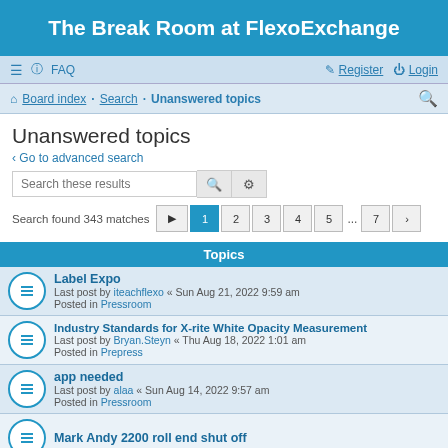The Break Room at FlexoExchange
≡  FAQ   Register  Login
Board index · Search · Unanswered topics
Unanswered topics
‹ Go to advanced search
Search these results
Search found 343 matches  Page 1 of 7  1 2 3 4 5 ... 7 >
Topics
Label Expo
Last post by iteachflexo « Sun Aug 21, 2022 9:59 am
Posted in Pressroom
Industry Standards for X-rite White Opacity Measurement
Last post by Bryan.Steyn « Thu Aug 18, 2022 1:01 am
Posted in Prepress
app needed
Last post by alaa « Sun Aug 14, 2022 9:57 am
Posted in Pressroom
Mark Andy 2200 roll end shut off